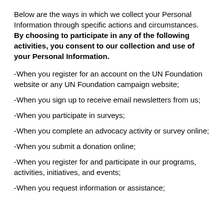Below are the ways in which we collect your Personal Information through specific actions and circumstances. By choosing to participate in any of the following activities, you consent to our collection and use of your Personal Information.
-When you register for an account on the UN Foundation website or any UN Foundation campaign website;
-When you sign up to receive email newsletters from us;
-When you participate in surveys;
-When you complete an advocacy activity or survey online;
-When you submit a donation online;
-When you register for and participate in our programs, activities, initiatives, and events;
-When you request information or assistance;